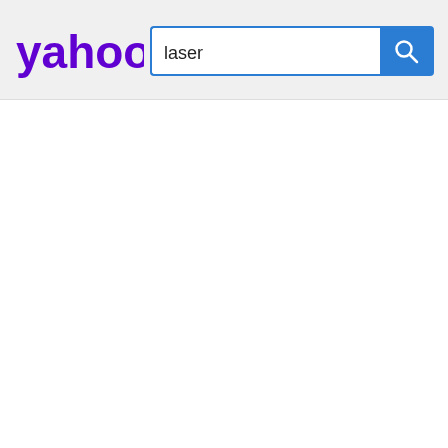[Figure (screenshot): Yahoo! logo in purple bold text with exclamation mark]
laser
[Figure (other): Blue search button with white magnifying glass icon]